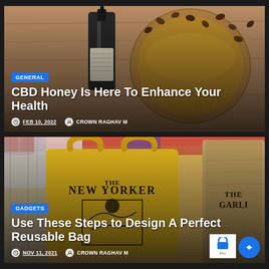[Figure (photo): CBD oil dropper bottle with coffee beans and a glass bowl of amber liquid on a wooden surface]
GENERAL
CBD Honey Is Here To Enhance Your Health
FEB 10, 2022  CROWN RAGHAV M
[Figure (photo): Yellow New Yorker tote bag and other reusable bags on colorful fabric background]
GADGETS
Use These Steps to Design A Perfect Reusable Bag
NOV 11, 2021  CROWN RAGHAV M